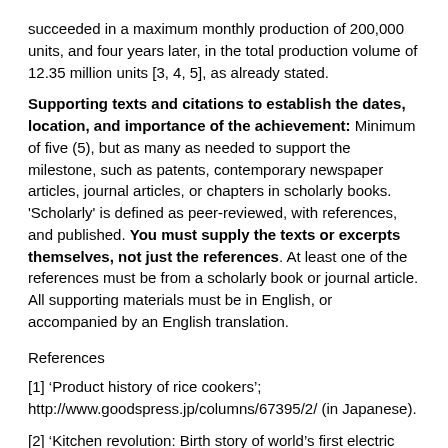succeeded in a maximum monthly production of 200,000 units, and four years later, in the total production volume of 12.35 million units [3, 4, 5], as already stated.
Supporting texts and citations to establish the dates, location, and importance of the achievement: Minimum of five (5), but as many as needed to support the milestone, such as patents, contemporary newspaper articles, journal articles, or chapters in scholarly books. 'Scholarly' is defined as peer-reviewed, with references, and published. You must supply the texts or excerpts themselves, not just the references. At least one of the references must be from a scholarly book or journal article. All supporting materials must be in English, or accompanied by an English translation.
References
[1] ‘Product history of rice cookers’; http://www.goodspress.jp/columns/67395/2/ (in Japanese).
[2] ‘Kitchen revolution: Birth story of world’s first electric rice cookers’; http://allabout.co.jp/gm/gc/292625/ (in Japanese).